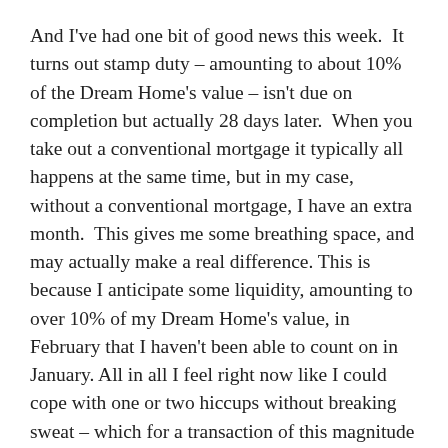And I've had one bit of good news this week.  It turns out stamp duty – amounting to about 10% of the Dream Home's value – isn't due on completion but actually 28 days later.  When you take out a conventional mortgage it typically all happens at the same time, but in my case, without a conventional mortgage, I have an extra month.  This gives me some breathing space, and may actually make a real difference. This is because I anticipate some liquidity, amounting to over 10% of my Dream Home's value, in February that I haven't been able to count on in January. All in all I feel right now like I could cope with one or two hiccups without breaking sweat – which for a transaction of this magnitude is very welcome.